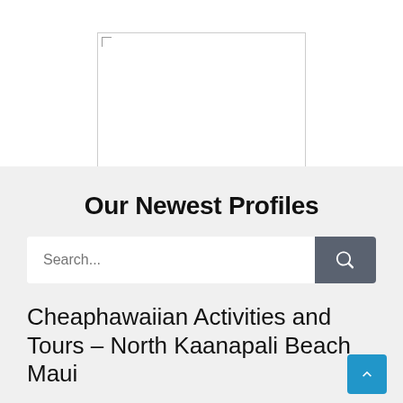[Figure (other): Blank white image placeholder with border]
Our Newest Profiles
[Figure (other): Search bar with text input placeholder 'Search...' and a dark gray search button with magnifying glass icon]
Cheaphawaiian Activities and Tours – North Kaanapali Beach Maui